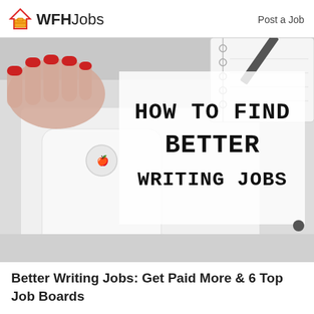WFHJobs   Post a Job
[Figure (photo): Hero image showing a woman's hand with red nails resting on a white iPhone/laptop on a white surface, with a notebook and pen in the background. A white semi-transparent overlay displays the text 'HOW TO FIND BETTER WRITING JOBS' in a bold handwritten-style font.]
Better Writing Jobs: Get Paid More & 6 Top Job Boards